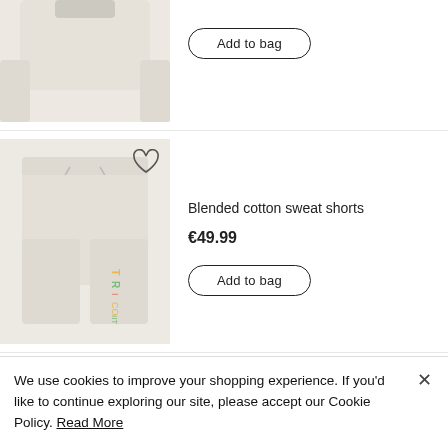[Figure (photo): Cropped top view of a beige/cream sweatshirt product image]
Add to bag
[Figure (photo): Cream/beige blended cotton sweat shorts with colorful text graphic down the leg and drawstring waist]
Blended cotton sweat shorts
€49.99
Add to bag
This might also appeal to you:
We use cookies to improve your shopping experience. If you'd like to continue exploring our site, please accept our Cookie Policy. Read More